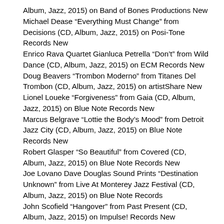Album, Jazz, 2015) on Band of Bones Productions New
Michael Dease “Everything Must Change” from Decisions (CD, Album, Jazz, 2015) on Posi-Tone Records New
Enrico Rava Quartet Gianluca Petrella “Don’t” from Wild Dance (CD, Album, Jazz, 2015) on ECM Records New
Doug Beavers “Trombon Moderno” from Titanes Del Trombon (CD, Album, Jazz, 2015) on artistShare New
Lionel Loueke “Forgiveness” from Gaia (CD, Album, Jazz, 2015) on Blue Note Records New
Marcus Belgrave “Lottie the Body’s Mood” from Detroit Jazz City (CD, Album, Jazz, 2015) on Blue Note Records New
Robert Glasper “So Beautiful” from Covered (CD, Album, Jazz, 2015) on Blue Note Records New
Joe Lovano Dave Douglas Sound Prints “Destination Unknown” from Live At Monterey Jazz Festival (CD, Album, Jazz, 2015) on Blue Note Records
John Scofield “Hangover” from Past Present (CD, Album, Jazz, 2015) on Impulse! Records New
Enrico Pieranunzi “Sundays” from Proximity (CD, Album, Jazz, 2015) on CAMJazz Records/Sunnyside New